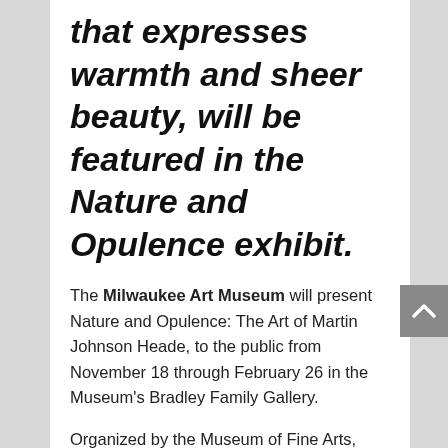that expresses warmth and sheer beauty, will be featured in the Nature and Opulence exhibit.
The Milwaukee Art Museum will present Nature and Opulence: The Art of Martin Johnson Heade, to the public from November 18 through February 26 in the Museum's Bradley Family Gallery.
Organized by the Museum of Fine Arts, Boston, this is the first major exhibition on the artist in nearly 20 years. Largely forgotten by scholars and collectors after his death, Heade was one of